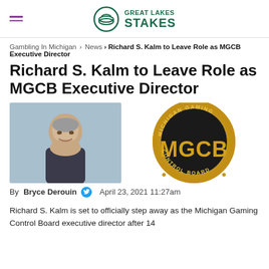Great Lakes Stakes
Gambling In Michigan > News > Richard S. Kalm to Leave Role as MGCB Executive Director
Richard S. Kalm to Leave Role as MGCB Executive Director
[Figure (photo): Headshot of Richard S. Kalm, a man with gray hair smiling, wearing a dark suit]
[Figure (logo): Michigan Gaming Control Board (MGCB) logo in gold with circular text reading Michigan Gaming Control Board]
By Bryce Derouin  April 23, 2021 11:27am
Richard S. Kalm is set to officially step away as the Michigan Gaming Control Board executive director after 14